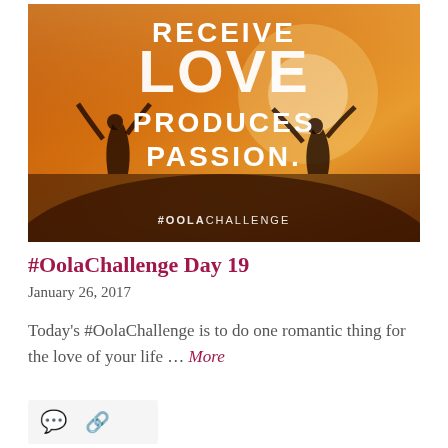[Figure (photo): Inspirational quote image with warm orange/golden sunset tone and silhouettes. White bold text reads: RECEIVE LOVE PRODUCES PASSION. Bottom text: #OOLACHALLENGE]
#OolaChallenge Day 19
January 26, 2017
Today's #OolaChallenge is to do one romantic thing for the love of your life … More